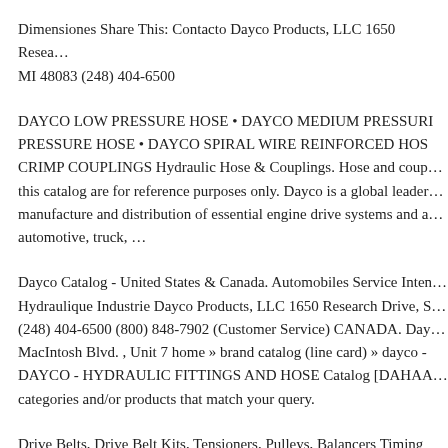Dimensiones Share This: Contacto Dayco Products, LLC 1650 Resea... MI 48083 (248) 404-6500
DAYCO LOW PRESSURE HOSE • DAYCO MEDIUM PRESSURI PRESSURE HOSE • DAYCO SPIRAL WIRE REINFORCED HOS CRIMP COUPLINGS Hydraulic Hose & Couplings. Hose and coupl... this catalog are for reference purposes only. Dayco is a global leader... manufacture and distribution of essential engine drive systems and a... automotive, truck, …
Dayco Catalog - United States & Canada. Automobiles Service Inten... Hydraulique Industrie Dayco Products, LLC 1650 Research Drive, S... (248) 404-6500 (800) 848-7902 (Customer Service) CANADA. Day... MacIntosh Blvd. , Unit 7 home » brand catalog (line card) » dayco - DAYCO - HYDRAULIC FITTINGS AND HOSE Catalog [DAHAA... categories and/or products that match your query.
Drive Belts, Drive Belt Kits, Tensioners, Pulleys, Balancers Timing B... Hydraulic Automatic Tensioners Thermostats & Heater Taps Radiato...